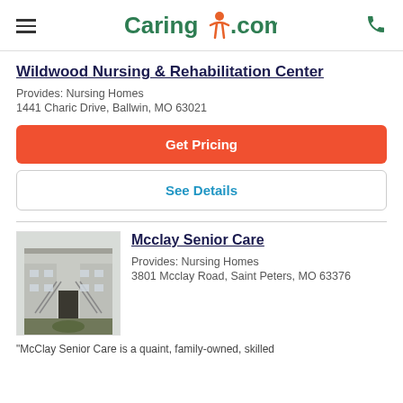Caring.com
Wildwood Nursing & Rehabilitation Center
Provides: Nursing Homes
1441 Charic Drive, Ballwin, MO 63021
Get Pricing
See Details
Mcclay Senior Care
Provides: Nursing Homes
3801 Mcclay Road, Saint Peters, MO 63376
[Figure (photo): Interior courtyard of Mcclay Senior Care building showing a multi-story atrium with staircases and garden area]
"McClay Senior Care is a quaint, family-owned, skilled